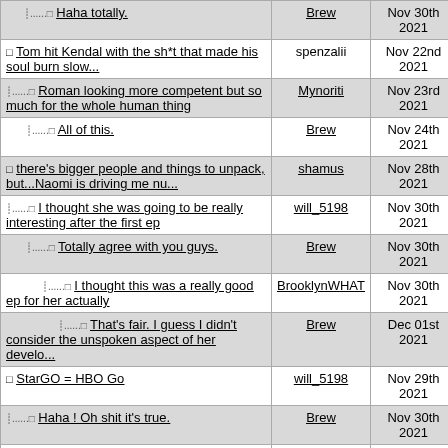| Title | User | Date | # |
| --- | --- | --- | --- |
| ↳ Haha totally. | Brew | Nov 30th 2021 | 114 |
| Tom hit Kendal with the sh*t that made his soul burn slow... | spenzalii | Nov 22nd 2021 | 81 |
| ↳ Roman looking more competent but so much for the whole human thing | Mynoriti | Nov 23rd 2021 | 83 |
| ↳↳ All of this. | Brew | Nov 24th 2021 | 88 |
| there's bigger people and things to unpack, but...Naomi is driving me nu... | shamus | Nov 28th 2021 | 97 |
| ↳ I thought she was going to be really interesting after the first ep | will_5198 | Nov 30th 2021 | 107 |
| ↳↳ Totally agree with you guys. | Brew | Nov 30th 2021 | 115 |
| ↳↳↳ I thought this was a really good ep for her actually | BrooklynWHAT | Nov 30th 2021 | 125 |
| ↳↳↳↳ That's fair. I guess I didn't consider the unspoken aspect of her develo... | Brew | Dec 01st 2021 | 130 |
| StarGO = HBO Go | will_5198 | Nov 29th 2021 | 98 |
| ↳ Haha ! Oh shit it's true. | Brew | Nov 30th 2021 | 116 |
| The fact Kendall survived this episode was the biggest win for him | Melanism | Nov 29th 2021 | 99 |
| ↳ Watching a mid life crisis... | spenzalii | Nov 29th 2021 | 100 |